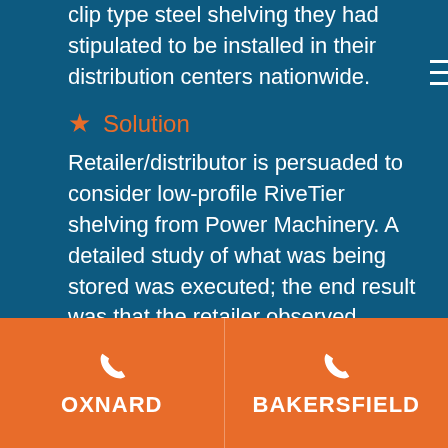clip type steel shelving they had stipulated to be installed in their distribution centers nationwide.
Solution
Retailer/distributor is persuaded to consider low-profile RiveTier shelving from Power Machinery. A detailed study of what was being stored was executed; the end result was that the retailer observed RiveTier product functionality was all that was needed to support the liteweight
OXNARD    BAKERSFIELD